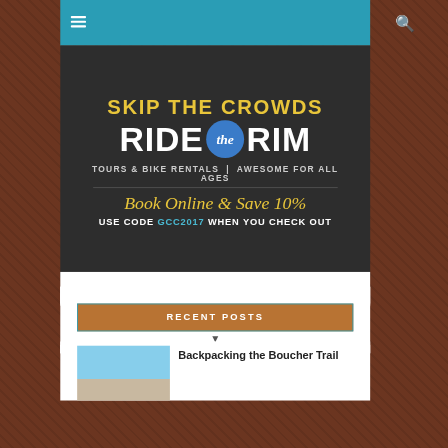☰  🔍
[Figure (advertisement): Ride the Rim advertisement banner on dark background. Text: SKIP THE CROWDS / RIDE the RIM / TOURS & BIKE RENTALS | AWESOME FOR ALL AGES / Book Online & Save 10% / USE CODE GCC2017 WHEN YOU CHECK OUT]
RECENT POSTS
Backpacking the Boucher Trail